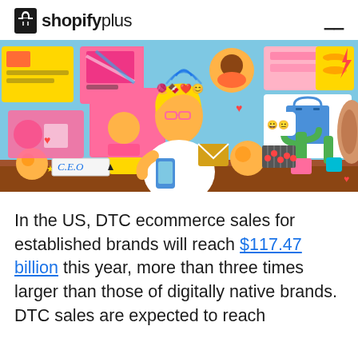shopify plus
[Figure (illustration): Colorful illustrated banner showing a woman using a smartphone at a desk, surrounded by various social media and e-commerce interface panels, icons, emojis, and graphics on a light blue background. A C.E.O. name card and a coffee mug are on the desk.]
In the US, DTC ecommerce sales for established brands will reach $117.47 billion this year, more than three times larger than those of digitally native brands. DTC sales are expected to reach